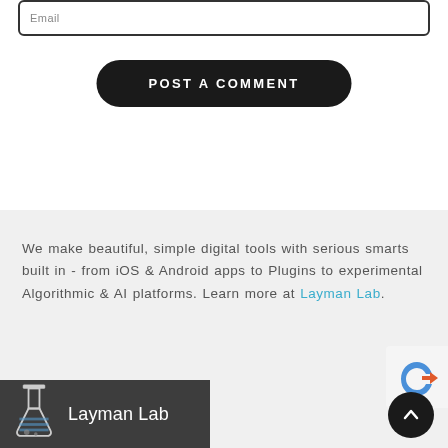Email
POST A COMMENT
We make beautiful, simple digital tools with serious smarts built in - from iOS & Android apps to Plugins to experimental Algorithmic & AI platforms. Learn more at Layman Lab.
[Figure (logo): Layman Lab logo with beaker icon and dark background banner]
[Figure (other): reCAPTCHA badge and scroll-to-top button]